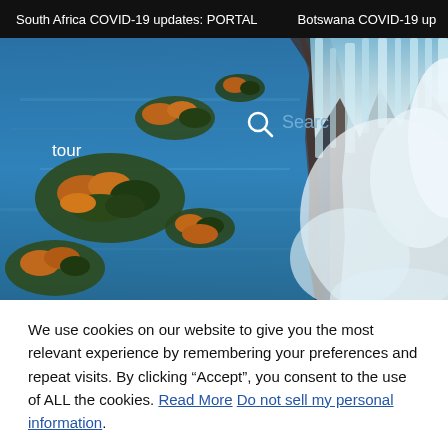South Africa COVID-19 updates: PORTAL   Botswana COVID-19 up
[Figure (photo): Aerial photograph of Victoria Falls waterfall with surrounding river islands covered in trees with autumn foliage, blue water, and mist rising from the falls on the right side. A search bar overlay reads 'Searc' with a magnifying glass icon, and the word 'tour' appears on the left side of the image.]
We use cookies on our website to give you the most relevant experience by remembering your preferences and repeat visits. By clicking “Accept”, you consent to the use of ALL the cookies. Read More Do not sell my personal information.
Cookie settings   ACCEPT